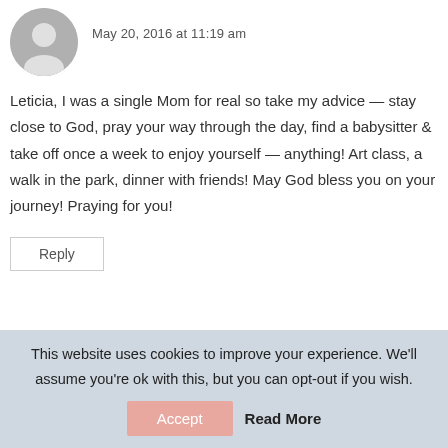[Figure (illustration): Circular grey avatar placeholder icon of a person silhouette]
May 20, 2016 at 11:19 am
Leticia, I was a single Mom for real so take my advice — stay close to God, pray your way through the day, find a babysitter & take off once a week to enjoy yourself — anything! Art class, a walk in the park, dinner with friends! May God bless you on your journey! Praying for you!
Reply
This website uses cookies to improve your experience. We'll assume you're ok with this, but you can opt-out if you wish.
Accept
Read More